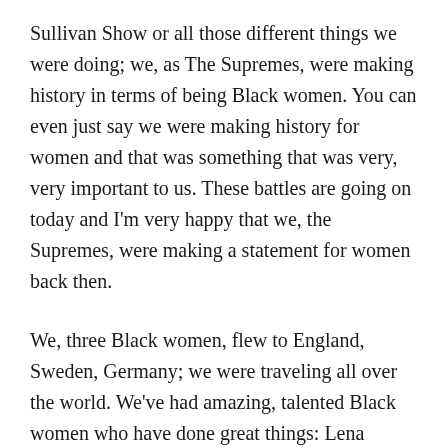Sullivan Show or all those different things we were doing; we, as The Supremes, were making history in terms of being Black women. You can even just say we were making history for women and that was something that was very, very important to us. These battles are going on today and I'm very happy that we, the Supremes, were making a statement for women back then.
We, three Black women, flew to England, Sweden, Germany; we were traveling all over the world. We've had amazing, talented Black women who have done great things: Lena Horne, Dorothy Dandridge, Ethel Waters, they were doing wonderful things in a big way, but at the time the ceiling really hadn't been cracked.